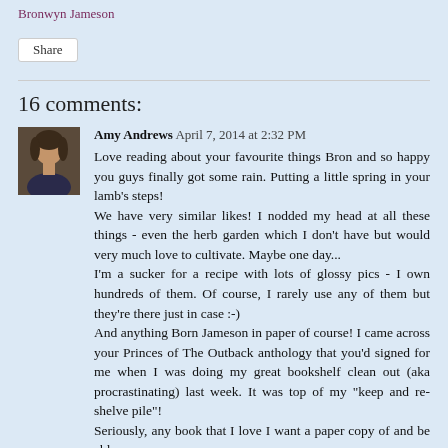Bronwyn Jameson
Share
16 comments:
Amy Andrews  April 7, 2014 at 2:32 PM
Love reading about your favourite things Bron and so happy you guys finally got some rain. Putting a little spring in your lamb's steps!
We have very similar likes! I nodded my head at all these things - even the herb garden which I don't have but would very much love to cultivate. Maybe one day...
I'm a sucker for a recipe with lots of glossy pics - I own hundreds of them. Of course, I rarely use any of them but they're there just in case :-)
And anything Born Jameson in paper of course! I came across your Princes of The Outback anthology that you'd signed for me when I was doing my great bookshelf clean out (aka procrastinating) last week. It was top of my "keep and re-shelve pile"!
Seriously, any book that I love I want a paper copy of and be able